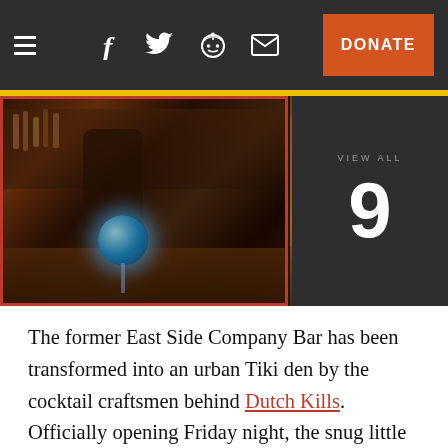≡  f  [twitter]  [reddit]  [mail]  DONATE
[Figure (photo): Two bar/cocktail bar photos side by side: left shows a bartender with a glowing blue cocktail sphere on a bar counter; right shows a warmly lit bar interior with stools. Dark panel on right shows 'VIEW ALL' and number 9.]
The former East Side Company Bar has been transformed into an urban Tiki den by the cocktail craftsmen behind Dutch Kills. Officially opening Friday night, the snug little warren—dubbed Painkiller after a rum cocktail concocted in the British Virgin Islands—will serve new creations alongside high-end versions of all the Tiki standards, from the Zombie to the Mai Thai to the